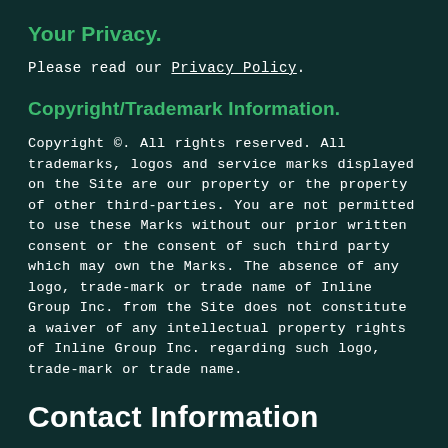Your Privacy.
Please read our Privacy Policy.
Copyright/Trademark Information.
Copyright ©. All rights reserved. All trademarks, logos and service marks displayed on the Site are our property or the property of other third-parties. You are not permitted to use these Marks without our prior written consent or the consent of such third party which may own the Marks. The absence of any logo, trade-mark or trade name of Inline Group Inc. from the Site does not constitute a waiver of any intellectual property rights of Inline Group Inc. regarding such logo, trade-mark or trade name.
Contact Information